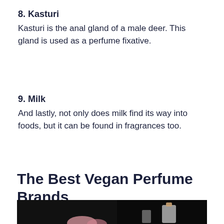8. Kasturi
Kasturi is the anal gland of a male deer. This gland is used as a perfume fixative.
9. Milk
And lastly, not only does milk find its way into foods, but it can be found in fragrances too.
The Best Vegan Perfume Brands
[Figure (photo): Dark background photo showing perfume bottles and pink flowers]